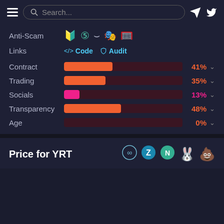Search...
Anti-Scam
Links  </> Code  Audit
[Figure (bar-chart): Score breakdown]
Price for YRT